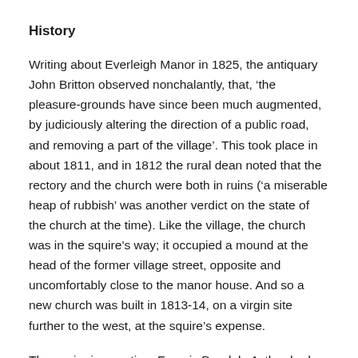History
Writing about Everleigh Manor in 1825, the antiquary John Britton observed nonchalantly, that, ‘the pleasure-grounds have since been much augmented, by judiciously altering the direction of a public road, and removing a part of the village’. This took place in about 1811, and in 1812 the rural dean noted that the rectory and the church were both in ruins (‘a miserable heap of rubbish’ was another verdict on the state of the church at the time). Like the village, the church was in the squire’s way; it occupied a mound at the head of the former village street, opposite and uncomfortably close to the manor house. And so a new church was built in 1813-14, on a virgin site further to the west, at the squire’s expense.
The squire in question, Francis Dugdale Astley, had been the sole landowner in Everleigh since he inherited the estate from his cousin in 1771. But the importance he was a…